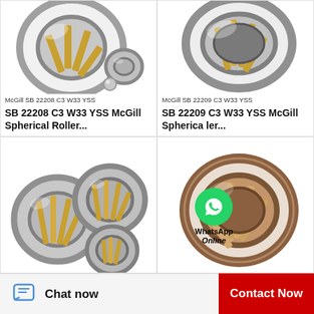[Figure (photo): McGill SB 22208 C3 W33 YSS spherical roller bearing photo]
McGill SB 22208 C3 W33 YSS
SB 22208 C3 W33 YSS McGill Spherical Roller...
[Figure (photo): McGill SB 22209 C3 W33 YSS spherical roller bearing photo]
McGill SB 22209 C3 W33 YSS
SB 22209 C3 W33 YSS McGill Spherical Roller...
[Figure (photo): McGill spherical roller bearings group photo, bottom left]
[Figure (photo): McGill spherical roller bearing brown/bronze, bottom right]
[Figure (logo): WhatsApp Online overlay icon with text]
Chat now
Contact Now